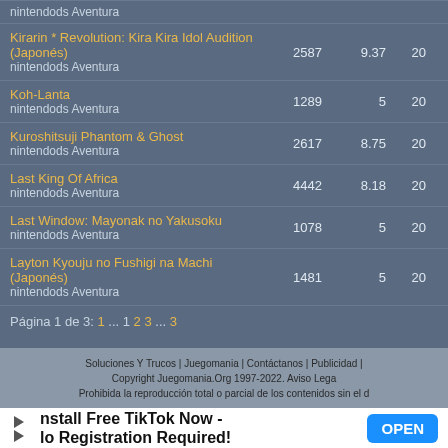| Juego | N | Nota | Año |
| --- | --- | --- | --- |
| nintendods Aventura |  |  |  |
| Kirarin * Revolution: Kira Kira Idol Audition (Japonés)
nintendods Aventura | 2587 | 9.37 | 20 |
| Koh-Lanta
nintendods Aventura | 1289 | 5 | 20 |
| Kuroshitsuji Phantom & Ghost
nintendods Aventura | 2617 | 8.75 | 20 |
| Last King Of Africa
nintendods Aventura | 4442 | 8.18 | 20 |
| Last Window: Mayonak no Yakusoku
nintendods Aventura | 1078 | 5 | 20 |
| Layton Kyouju no Fushigi na Machi (Japonés)
nintendods Aventura | 1481 | 5 | 20 |
Página 1 de 3: 1 ... 1 2 3 ... 3
Soluciones Y Trucos | Juegomania | Contáctanos | Publicidad |
Copyright Juegomania.Org 1997-2022. Aviso Lega
Prohibida la reproducción total o parcial de los contenidos sin el d
[Figure (screenshot): Advertisement banner: Install Free TikTok Now - No Registration Required! with OPEN button]